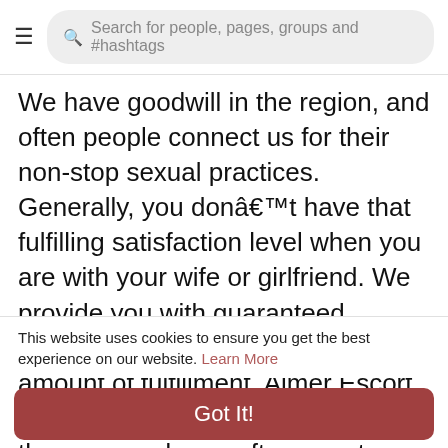Search for people, pages, groups and #hashtags
We have goodwill in the region, and often people connect us for their non-stop sexual practices. Generally, you donâ€™t have that fulfilling satisfaction level when you are with your wife or girlfriend. We provide you with guaranteed gratification with the maximum amount of fulfillment. Ajmer Escort service has remarkable goodwill in the area, and men often count us for their delightful sexual jobs.
Your heart will pump up heavily when you get close to our bombshells. Ajmer call girls is a person who wishes you wealth, health, and love in life. They know that sexual closeness and friend for a lifetime is your
This website uses cookies to ensure you get the best experience on our website. Learn More
Got It!